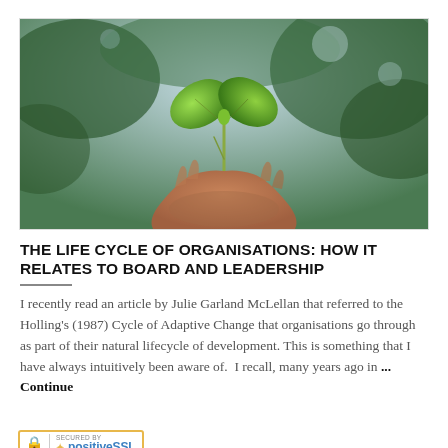[Figure (photo): A hand holding a small green seedling plant with two large leaves, against a blurred green outdoor background.]
THE LIFE CYCLE OF ORGANISATIONS: HOW IT RELATES TO BOARD AND LEADERSHIP
I recently read an article by Julie Garland McLellan that referred to the Holling's (1987) Cycle of Adaptive Change that organisations go through as part of their natural lifecycle of development. This is something that I have always intuitively been aware of. I recall, many years ago in ... le, sharing this concept in … Continue